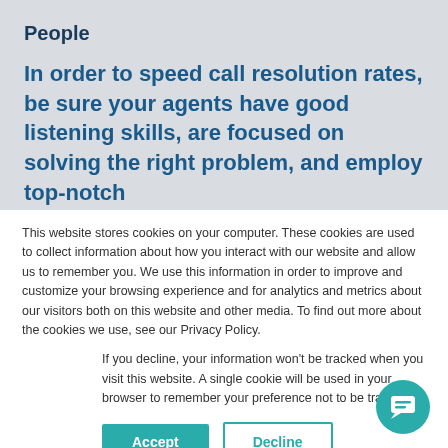People
In order to speed call resolution rates, be sure your agents have good listening skills, are focused on solving the right problem, and employ top-notch
This website stores cookies on your computer. These cookies are used to collect information about how you interact with our website and allow us to remember you. We use this information in order to improve and customize your browsing experience and for analytics and metrics about our visitors both on this website and other media. To find out more about the cookies we use, see our Privacy Policy.
If you decline, your information won’t be tracked when you visit this website. A single cookie will be used in your browser to remember your preference not to be tracked.
[Figure (other): Accept and Decline cookie consent buttons, and a teal chat bubble icon in the bottom right corner]